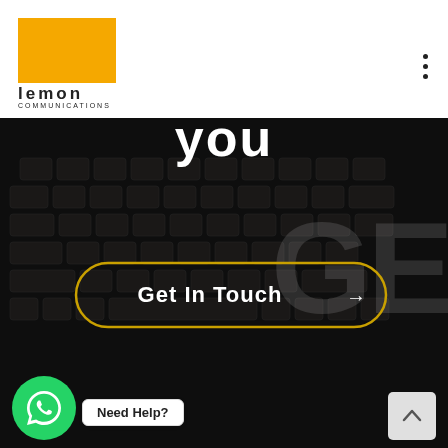[Figure (logo): Lemon Communications logo: orange square with white 'lemon' bold text inside, and 'COMMUNICATIONS' below in small caps]
[Figure (screenshot): Hero section of a website showing a dark keyboard background with 'you' text at top, a 'Get In Touch →' button with gold border, 'GE' watermark text on right side, WhatsApp button at bottom left, 'Need Help?' badge, and a scroll-up button at bottom right]